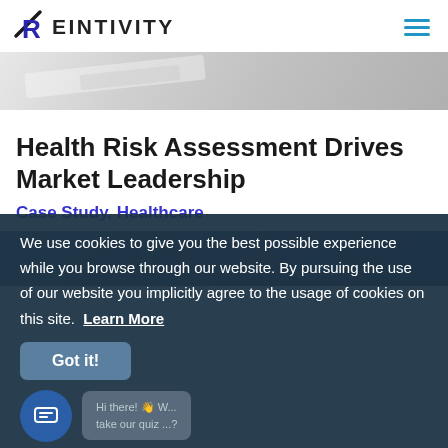REINTIVITY
[Figure (photo): A partially visible photograph of documents or papers on a desk, shown as a horizontal strip at the top of the page.]
Health Risk Assessment Drives Market Leadership
Case Study, Healthcare
[Figure (photo): A partially visible dark-toned photograph, partially obscured by the cookie consent overlay.]
We use cookies to give you the best possible experience while you browse through our website. By pursuing the use of our website you implicitly agree to the usage of cookies on this site.  Learn More
Got it!